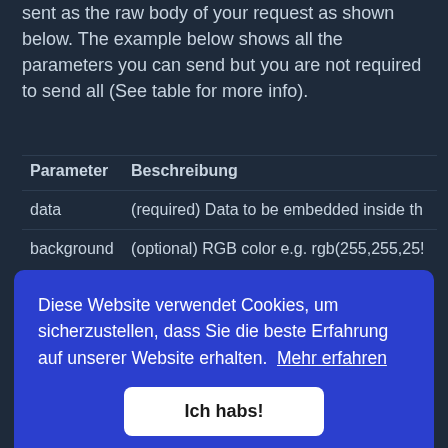sent as the raw body of your request as shown below. The example below shows all the parameters you can send but you are not required to send all (See table for more info).
| Parameter | Beschreibung |
| --- | --- |
| data | (required) Data to be embedded inside th |
| background | (optional) RGB color e.g. rgb(255,255,25! |
Diese Website verwendet Cookies, um sicherzustellen, dass Sie die beste Erfahrung auf unserer Website erhalten.  Mehr erfahren
Ich habs!